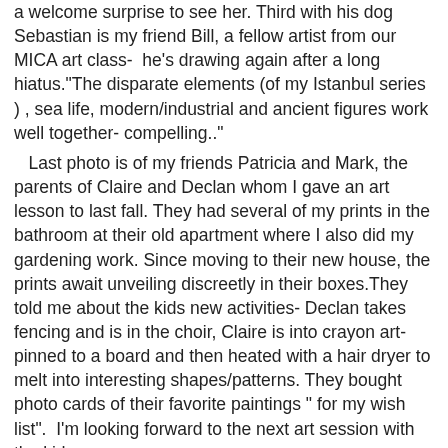a welcome surprise to see her. Third with his dog Sebastian is my friend Bill, a fellow artist from our MICA art class-  he's drawing again after a long hiatus."The disparate elements (of my Istanbul series ) , sea life, modern/industrial and ancient figures work well together- compelling.."

   Last photo is of my friends Patricia and Mark, the parents of Claire and Declan whom I gave an art lesson to last fall. They had several of my prints in the bathroom at their old apartment where I also did my gardening work. Since moving to their new house, the prints await unveiling discreetly in their boxes.They told me about the kids new activities- Declan takes fencing and is in the choir, Claire is into crayon art- pinned to a board and then heated with a hair dryer to melt into interesting shapes/patterns. They bought photo cards of their favorite paintings " for my wish list".  I'm looking forward to the next art session with the kids

.
 I almost forgot to mention the first visitor of the day , Heather Villyard, the director of ArtSpan. She lives in my neighborhood and is hosting several artists in her  home gallery space next weekend- www.truesilversf.com .She was blogging about her artist visits on her smart phone and included photos of several locations. She started the